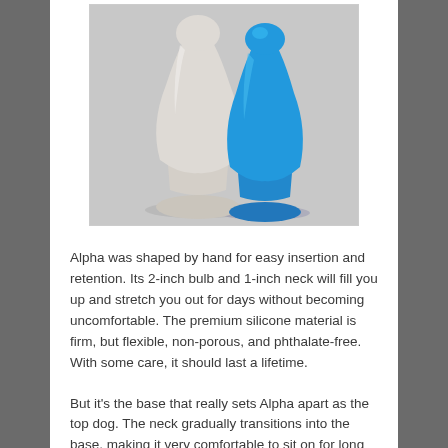[Figure (photo): Two silicone plug-shaped objects side by side — one translucent white/cream and one bright blue — photographed against a light grey background. Both have a rounded bulb top, narrow neck, and flared base.]
Alpha was shaped by hand for easy insertion and retention. Its 2-inch bulb and 1-inch neck will fill you up and stretch you out for days without becoming uncomfortable. The premium silicone material is firm, but flexible, non-porous, and phthalate-free. With some care, it should last a lifetime.
But it's the base that really sets Alpha apart as the top dog. The neck gradually transitions into the base, making it very comfortable to sit on for long periods of time. It is